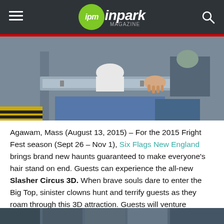ipm inpark MAGAZINE
[Figure (photo): People on a roller coaster ride gripping a metal restraint bar, hands visible]
Agawam, Mass (August 13, 2015) – For the 2015 Fright Fest season (Sept 26 – Nov 1), Six Flags New England brings brand new haunts guaranteed to make everyone's hair stand on end. Guests can experience the all-new Slasher Circus 3D. When brave souls dare to enter the Big Top, sinister clowns hunt and terrify guests as they roam through this 3D attraction. Guests will venture through tight corridors and dark spaces with insane clowns at every turn.
[Figure (photo): Partial view of a second photo at bottom of page]